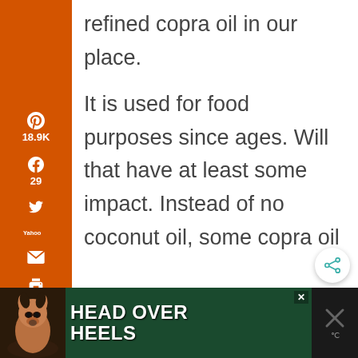refined copra oil in our place. It is used for food purposes since ages. Will that have at least some impact. Instead of no coconut oil, some copra oil
Reply
[Figure (screenshot): Orange social sharing sidebar with Pinterest (18.9K), Facebook (29), Twitter, Yahoo, Email, and Print icons]
19.0K SHARES
[Figure (screenshot): Advertisement banner: HEAD OVER HEELS with dog image on dark green background]